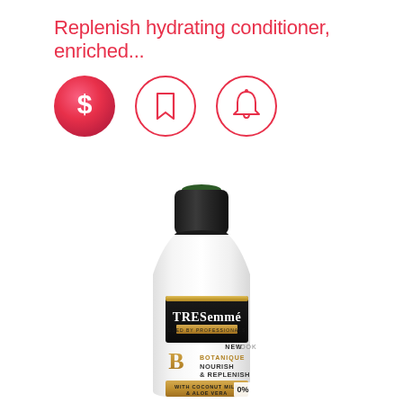Replenish hydrating conditioner, enriched...
[Figure (infographic): Three circular icon buttons: a filled pink/red gradient circle with a dollar sign, an outlined red circle with a bookmark icon, and an outlined red circle with a bell icon]
[Figure (photo): TRESemmé Botanique Nourish & Replenish conditioner bottle with coconut milk and aloe vera, white bottle with black cap, gold and black label, showing 'NEW LOOK' text and '0%' badge]